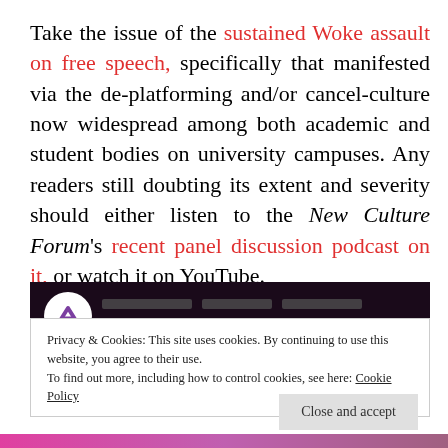Take the issue of the sustained Woke assault on free speech, specifically that manifested via the de-platforming and/or cancel-culture now widespread among both academic and student bodies on university campuses. Any readers still doubting its extent and severity should either listen to the New Culture Forum's recent panel discussion podcast on it, or watch it on YouTube.
[Figure (screenshot): Dark background image showing the New Culture Forum logo (circular white logo with purple chevron) and partial text, related to a panel discussion video.]
Privacy & Cookies: This site uses cookies. By continuing to use this website, you agree to their use.
To find out more, including how to control cookies, see here: Cookie Policy
Close and accept